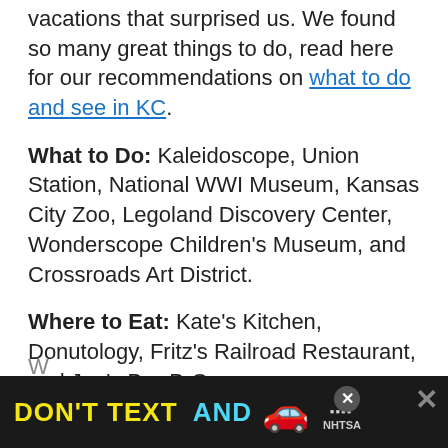vacations that surprised us. We found so many great things to do, read here for our recommendations on what to do and see in KC.
What to Do: Kaleidoscope, Union Station, National WWI Museum, Kansas City Zoo, Legoland Discovery Center, Wonderscope Children's Museum, and Crossroads Art District.
Where to Eat: Kate's Kitchen, Donutology, Fritz's Railroad Restaurant, and Joe's Bar-B-Que
[Figure (other): Advertisement banner: 'DON'T TEXT AND' in yellow and cyan bold text with a red car emoji, ad badge with squares and NHTSA label, close buttons on right]